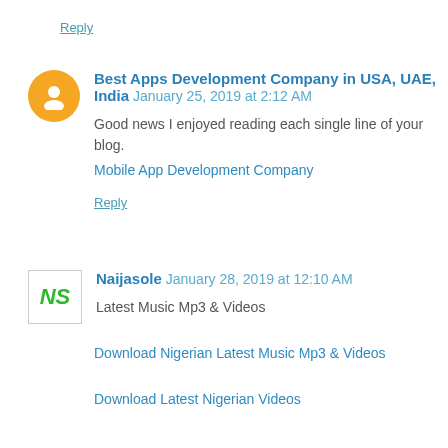Reply
Best Apps Development Company in USA, UAE, India  January 25, 2019 at 2:12 AM
Good news I enjoyed reading each single line of your blog.
Mobile App Development Company
Reply
Naijasole  January 28, 2019 at 12:10 AM
Latest Music Mp3 & Videos
Download Nigerian Latest Music Mp3 & Videos
Download Latest Nigerian Videos
,,,,,,,,,,,,,,,,,,,,,,,,,,,,,,,,,,,,,,,,,,,,,,,,,,,,,,,,,,,,,,,,,,,,,,
Latest Music Mp3 2019
Latest Music Videos 2019